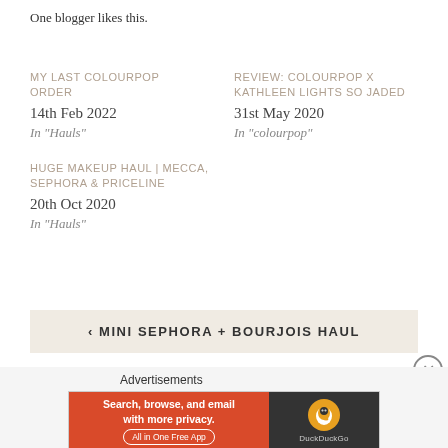One blogger likes this.
MY LAST COLOURPOP ORDER
14th Feb 2022
In "Hauls"
REVIEW: COLOURPOP X KATHLEEN LIGHTS SO JADED
31st May 2020
In "colourpop"
HUGE MAKEUP HAUL | MECCA, SEPHORA & PRICELINE
20th Oct 2020
In "Hauls"
‹ MINI SEPHORA + BOURJOIS HAUL
Advertisements
[Figure (other): DuckDuckGo advertisement banner: 'Search, browse, and email with more privacy. All in One Free App' with DuckDuckGo logo on dark background.]